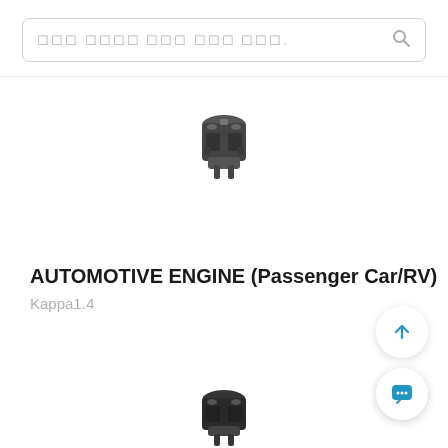Search placeholder (Korean/obfuscated text)
[Figure (photo): Automotive engine (Kappa 1.4) photograph, small, centered, dark metallic engine block]
AUTOMOTIVE ENGINE (Passenger Car/RV)
Kappa1.4
[Figure (photo): Second automotive engine photograph partially visible at bottom of page]
[Figure (other): Scroll-to-top button with upward arrow icon]
[Figure (other): Chat button with speech bubble icon]